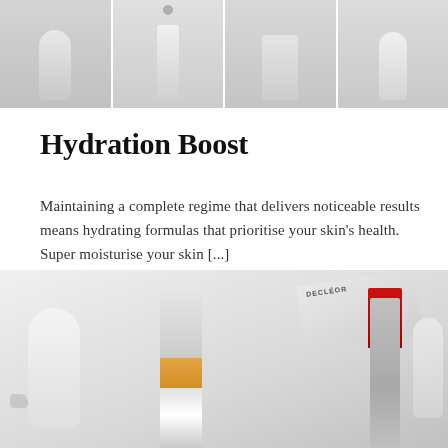[Figure (photo): Top strip showing skincare product bottles on white background, arranged in a row with dividers between them]
Hydration Boost
Maintaining a complete regime that delivers noticeable results means hydrating formulas that prioritise your skin’s health. Super moisturise your skin [...]
READ MORE
[Figure (photo): Bottom partial image showing various skincare products including a spray bottle, tall serum bottle with orange label, a box labeled DECLEOR, a red lipstick, and a small bottle on white/light grey background]